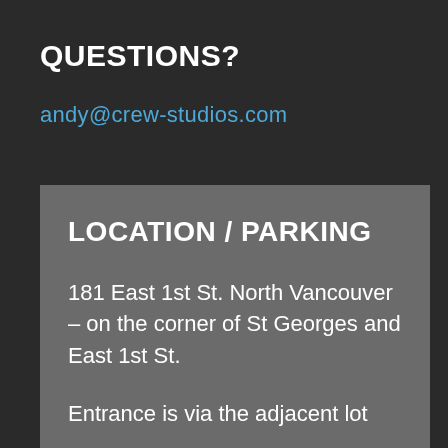QUESTIONS?
andy@crew-studios.com
LOCATION / PARKING
181 East 1st St. North Vancouver – on the corner of St Georges and East 1st St.
Entrance is via the adjacent lot